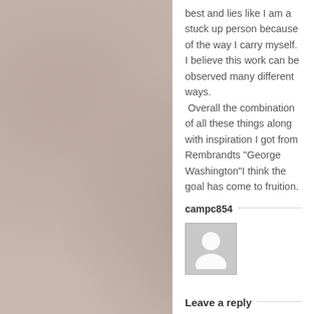best and lies like I am a stuck up person because of the way I carry myself. I believe this work can be observed many different ways.  Overall the combination of all these things along with inspiration I got from Rembrandts “George Washington”I think the goal has come to fruition.
campc854
[Figure (other): Default user avatar placeholder image — grey square with white person silhouette icon]
Leave a reply